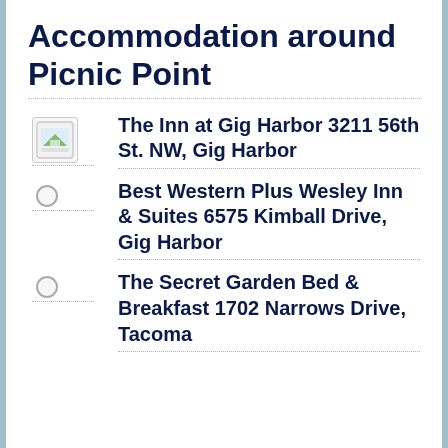Accommodation around Picnic Point
The Inn at Gig Harbor 3211 56th St. NW, Gig Harbor
Best Western Plus Wesley Inn & Suites 6575 Kimball Drive, Gig Harbor
The Secret Garden Bed & Breakfast 1702 Narrows Drive, Tacoma